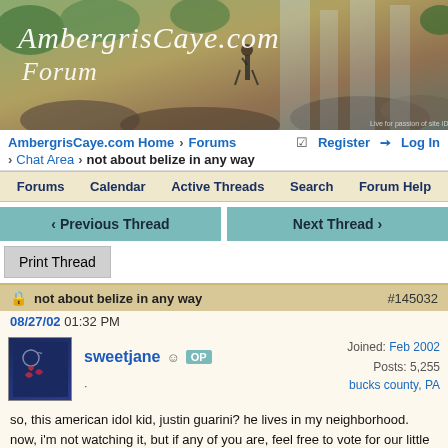[Figure (photo): AmbergrisCaye.com Forum banner with waterfall background and cursive logo text]
AmbergrisCaye.com Home > Forums > Chat Area > not about belize in any way | Register | Log In
Forums | Calendar | Active Threads | Search | Forum Help
Previous Thread | Next Thread
Print Thread
not about belize in any way #145032
08/27/02 01:32 PM
sweetjane OP Joined: Feb 2002 Posts: 5,255 bucks county, PA
so, this american idol kid, justin guarini? he lives in my neighborhood. now, i'm not watching it, but if any of you are, feel free to vote for our little local idol.